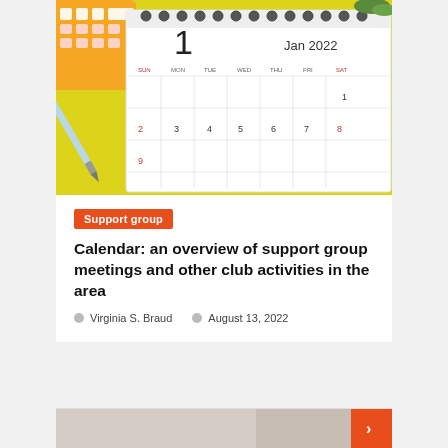[Figure (photo): Photo of a January 2022 desk calendar with pen and yellow calculator in background]
Support group
Calendar: an overview of support group meetings and other club activities in the area
Virginia S. Braud   August 13, 2022
[Figure (photo): Partial image at bottom showing a room interior with an orange element on the right side]